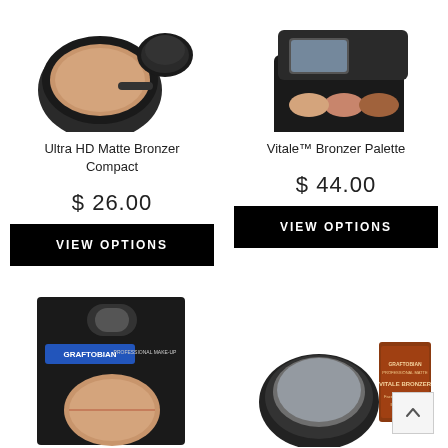[Figure (photo): Ultra HD Matte Bronzer Compact product photo - compact makeup case partially open showing bronzer puff]
[Figure (photo): Vitale Bronzer Palette product photo - open palette compact showing bronzer]
Ultra HD Matte Bronzer Compact
Vitale™ Bronzer Palette
$26.00
$44.00
VIEW OPTIONS
VIEW OPTIONS
[Figure (photo): Graftobian Professional Make-up product in black box packaging with bronzer compact]
[Figure (photo): Graftobian Vitale Bronzer open compact with mirror and product box]